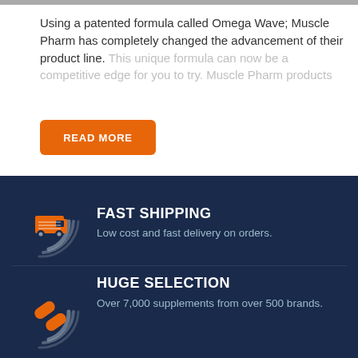Using a patented formula called Omega Wave; Muscle Pharm has completely changed the advancement of their product line. This unique formula can now be a competitive edge for you to try. Muscle Pharm products
[Figure (other): Orange 'READ MORE' button]
[Figure (infographic): Dark navy blue section with Fast Shipping feature: orange delivery truck icon with grey swoosh arcs, bold white text 'FAST SHIPPING', description 'Low cost and fast delivery on orders.']
[Figure (infographic): Huge Selection feature: orange capsule pills icon with grey swoosh arcs, bold white text 'HUGE SELECTION', description 'Over 7,000 supplements from over 500 brands.']